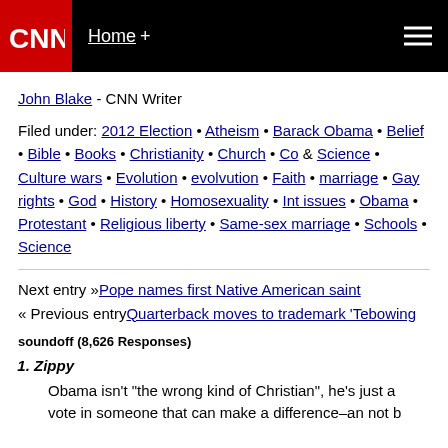CNN - Home +
John Blake - CNN Writer
Filed under: 2012 Election • Atheism • Barack Obama • Belief • Bible • Books • Christianity • Church • Co & Science • Culture wars • Evolution • evolvution • Faith • marriage • Gay rights • God • History • Homosexuality • Int issues • Obama • Protestant • Religious liberty • Same-sex marriage • Schools • Science
Next entry » Pope names first Native American saint
« Previous entry Quarterback moves to trademark 'Tebowing
soundoff (8,626 Responses)
Zippy
Obama isn't "the wrong kind of Christian", he's just a vote in someone that can make a difference–an not b